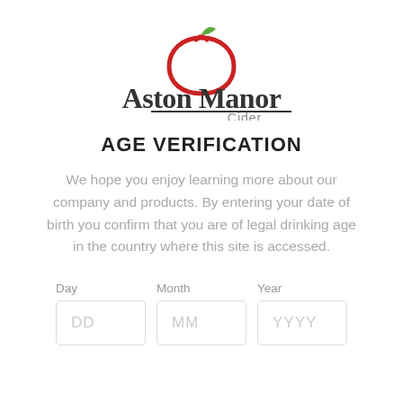[Figure (logo): Aston Manor Cider logo: red apple with green leaf on top, text 'Aston Manor' in dark gray with underline, 'Cider' in lighter gray below]
AGE VERIFICATION
We hope you enjoy learning more about our company and products. By entering your date of birth you confirm that you are of legal drinking age in the country where this site is accessed.
| Day | Month | Year |
| --- | --- | --- |
| DD | MM | YYYY |